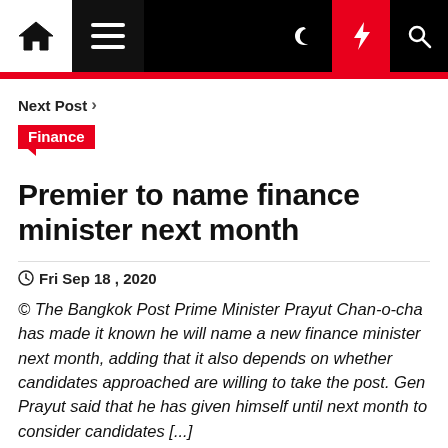Navigation bar with home, menu, moon, lightning, and search icons
Next Post >
Finance
Premier to name finance minister next month
Fri Sep 18 , 2020
© The Bangkok Post Prime Minister Prayut Chan-o-cha has made it known he will name a new finance minister next month, adding that it also depends on whether candidates approached are willing to take the post. Gen Prayut said that he has given himself until next month to consider candidates [...]